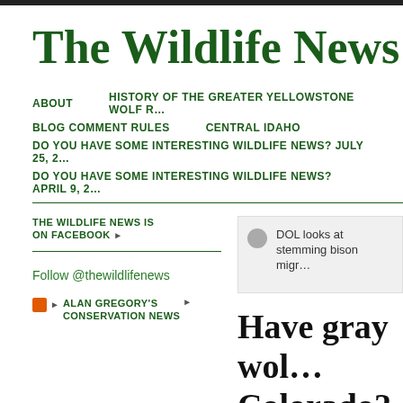The Wildlife News
ABOUT   HISTORY OF THE GREATER YELLOWSTONE WOLF R…   BLOG COMMENT RULES   CENTRAL IDAHO   DO YOU HAVE SOME INTERESTING WILDLIFE NEWS? JULY 25, 2…   DO YOU HAVE SOME INTERESTING WILDLIFE NEWS? APRIL 9, 2…
THE WILDLIFE NEWS IS ON FACEBOOK
DOL looks at stemming bison migr…
Follow @thewildlifenews
ALAN GREGORY'S CONSERVATION NEWS
Have gray wol… Colorado?